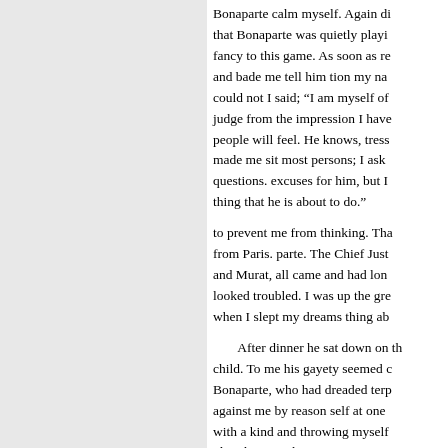Bonaparte calm myself. Again di that Bonaparte was quietly playi fancy to this game. As soon as re and bade me tell him tion my na could not I said; "I am myself of judge from the impression I have people will feel. He knows, tress made me sit most persons; I ask questions. excuses for him, but I thing that he is about to do."
to prevent me from thinking. Tha from Paris. parte. The Chief Just and Murat, all came and had lon looked troubled. I was up the gre when I slept my dreams thing ab
After dinner he sat down on th child. To me his gayety seemed c Bonaparte, who had dreaded terp against me by reason self at one with a kind and throwing myself plore him to take compassion on it then to be without a spot, and A